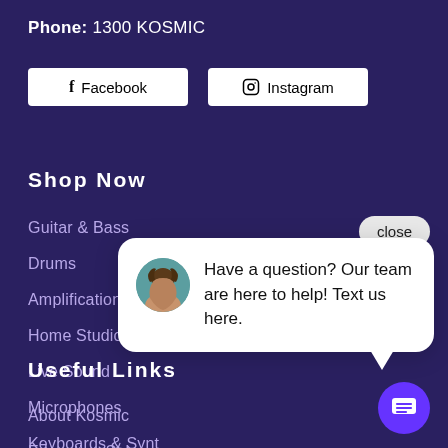Phone: 1300 KOSMIC
[Figure (screenshot): Facebook and Instagram social media buttons (white rectangles on dark purple background)]
Shop Now
Guitar & Bass
Drums
Amplification
Home Studio
Live Sound
Microphones
Keyboards & Synt
[Figure (screenshot): Chat popup overlay with close button, avatar photo of a woman, and text: Have a question? Our team are here to help! Text us here. With a purple chat icon button bottom right.]
Useful Links
About Kosmic
Education Sales